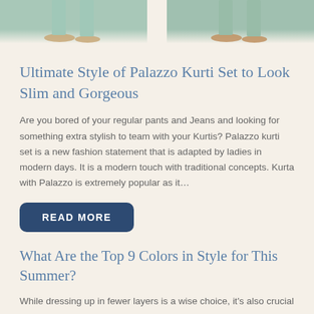[Figure (photo): Top portion of two fashion models wearing teal/mint palazzo kurti sets with sandals, cropped at mid-calf level showing feet and lower legs against a cream background]
Ultimate Style of Palazzo Kurti Set to Look Slim and Gorgeous
Are you bored of your regular pants and Jeans and looking for something extra stylish to team with your Kurtis? Palazzo kurti set is a new fashion statement that is adapted by ladies in modern days. It is a modern touch with traditional concepts. Kurta with Palazzo is extremely popular as it…
READ MORE
What Are the Top 9 Colors in Style for This Summer?
While dressing up in fewer layers is a wise choice, it's also crucial to put on colors that are suitable for the summer season. Try to integrate colors that feel good and make you look cool, too. Hence, it's time to bail on mundane colors and channel your style into clothing with the…